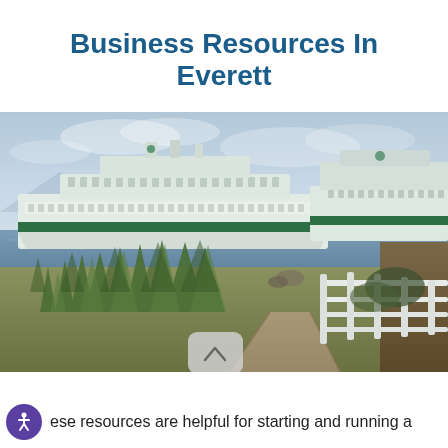Business Resources In Everett
[Figure (photo): A Washington State Ferry docked at the Everett terminal, viewed from a waterfront path with tall grasses and a white fence in the foreground, overcast sky above.]
ese resources are helpful for starting and running a